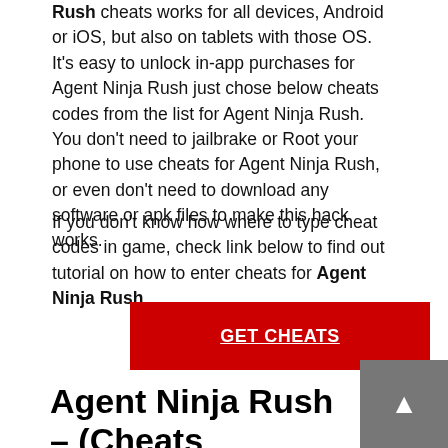Rush cheats works for all devices, Android or iOS, but also on tablets with those OS. It's easy to unlock in-app purchases for Agent Ninja Rush just chose below cheats codes from the list for Agent Ninja Rush. You don't need to jailbrake or Root your phone to use cheats for Agent Ninja Rush, or even don't need to download any software or apk files to make this hack works.
If you don't know how where to type cheat codes in game, check link below to find out tutorial on how to enter cheats for Agent Ninja Rush.
[Figure (other): Red button with white underlined bold text reading GET CHEATS]
Agent Ninja Rush – (Cheats Updated Yesterday)